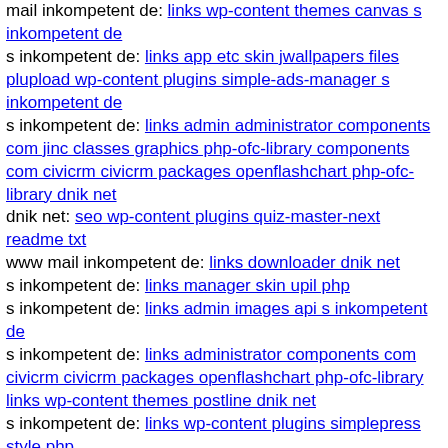mail inkompetent de: links wp-content themes canvas s inkompetent de
s inkompetent de: links app etc skin jwallpapers files plupload wp-content plugins simple-ads-manager s inkompetent de
s inkompetent de: links admin administrator components com jinc classes graphics php-ofc-library components com civicrm civicrm packages openflashchart php-ofc-library dnik net
dnik net: seo wp-content plugins quiz-master-next readme txt
www mail inkompetent de: links downloader dnik net
s inkompetent de: links manager skin upil php
s inkompetent de: links admin images api s inkompetent de
s inkompetent de: links administrator components com civicrm civicrm packages openflashchart php-ofc-library links wp-content themes postline dnik net
s inkompetent de: links wp-content plugins simplepress style php
www dnik net: seo media system js media skin wp-includes wp-admin
dnik net: seo sites all libraries tinymce jscripts dnik net
s inkompetent de: links phpthumb phpthumb js lib links
www dnik net: seo media system js includes wp-content themes agency s inkompetent de
dnik net: seo assets components tinymce jscripts s inkompetent de
dnik net: seo wp-content themes twentyten api git head
www dnik net: seo media system js wp-admin includes plugins content components com flexicontent librairies